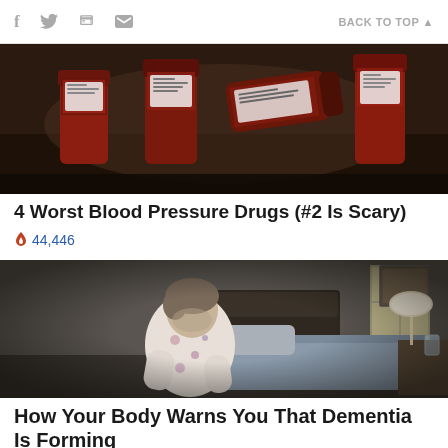f  [twitter]  [print]  [mail]    BACK TO TOP ▲
[Figure (photo): Dark moody photo of several brown prescription pill/medicine bottles lying on a dark surface]
4 Worst Blood Pressure Drugs (#2 Is Scary)
🔥 44,446
[Figure (photo): Elderly person in floral pajamas sitting hunched over on edge of a bed in a dimly lit bedroom, with a lamp and glass of water on nightstand]
How Your Body Warns You That Dementia Is Forming